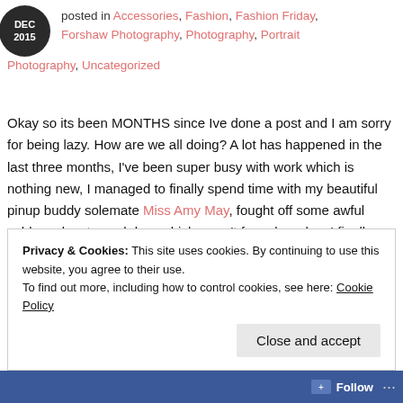posted in Accessories, Fashion, Fashion Friday, Forshaw Photography, Photography, Portrait Photography, Uncategorized
Okay so its been MONTHS since Ive done a post and I am sorry for being lazy. How are we all doing? A lot has happened in the last three months, I've been super busy with work which is nothing new, I managed to finally spend time with my beautiful pinup buddy solemate Miss Amy May, fought off some awful colds and a stomach bug which wasn't fun, oh and ya I finally snagged myself a boyfriend…he's pretty wonderful, but if you guys are sore about my lack of posting blame it on my boyfriend for eating up my freetime 😉
Privacy & Cookies: This site uses cookies. By continuing to use this website, you agree to their use.
To find out more, including how to control cookies, see here: Cookie Policy
Close and accept
Follow